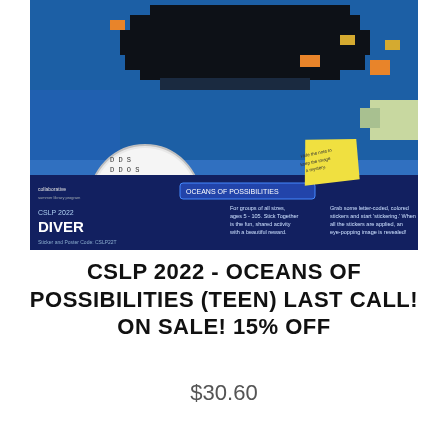[Figure (photo): Product image of CSLP 2022 Diver sticker poster kit. Shows a large pixelated ocean map image with letter-coded stickers, a magnifying circle showing letter codes (D, O, K, A, B etc.), a yellow sticky note, and text reading 'Color Coded Poster 40" x 36" (3,996 stickers)', 'collaborative summer library program', 'OCEANS OF POSSIBILITIES', 'CSLP 2022 DIVER', 'Sticker and Poster Code: CSLP22T'. Blue background with product description text about group activity.]
CSLP 2022 - OCEANS OF POSSIBILITIES (TEEN) LAST CALL! ON SALE! 15% OFF
$30.60